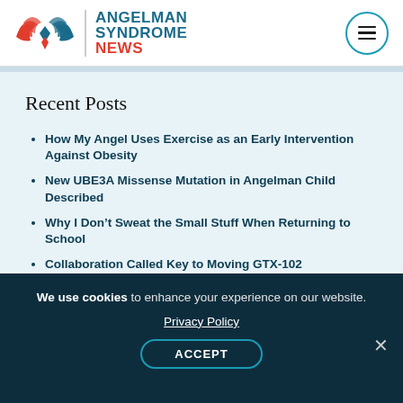ANGELMAN SYNDROME NEWS
Recent Posts
How My Angel Uses Exercise as an Early Intervention Against Obesity
New UBE3A Missense Mutation in Angelman Child Described
Why I Don't Sweat the Small Stuff When Returning to School
Collaboration Called Key to Moving GTX-102 Development Forward
We use cookies to enhance your experience on our website. Privacy Policy ACCEPT